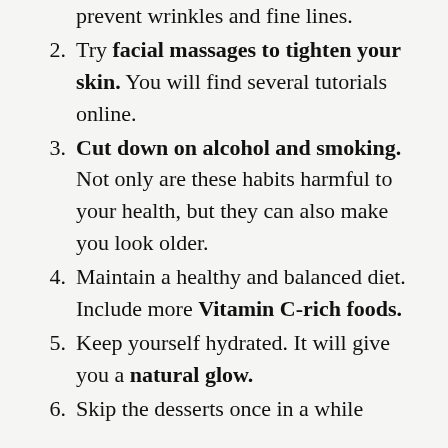prevent wrinkles and fine lines.
Try facial massages to tighten your skin. You will find several tutorials online.
Cut down on alcohol and smoking. Not only are these habits harmful to your health, but they can also make you look older.
Maintain a healthy and balanced diet. Include more Vitamin C-rich foods.
Keep yourself hydrated. It will give you a natural glow.
Skip the desserts once in a while